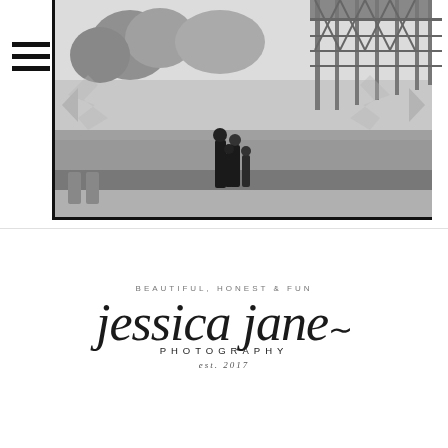[Figure (photo): Black and white photograph of a family walking toward a large wooden trestle bridge, viewed from behind, in a field. Overlaid with navigation UI elements including hamburger menu, left/right arrows, and pause button.]
[Figure (logo): Jessica Jane Photography logo with tagline 'Beautiful, Honest & Fun' in script and serif typography, with 'est. 2017' below.]